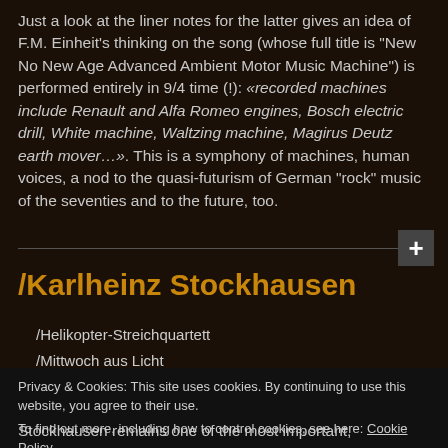Just a look at the liner notes for the latter gives an idea of F.M. Einheit's thinking on the song (whose full title is "New No New Age Advanced Ambient Motor Music Machine") is performed entirely in 9/4 time (!): "recorded machines include Renault and Alfa Romeo engines, Bosch electric drill, White machine, Waltzing machine, Magirus Deutz earth mover…". This is a symphony of machines, human voices, a nod to the quasi-futurism of German "rock" music of the seventies and to the future, too.
/Karlheinz Stockhausen
/Helikopter-Streichquartett
/Mittwoch aus Licht
Privacy & Cookies: This site uses cookies. By continuing to use this website, you agree to their use.
To find out more, including how to control cookies, see here: Cookie Policy
Stockhausen remains one of the most important,